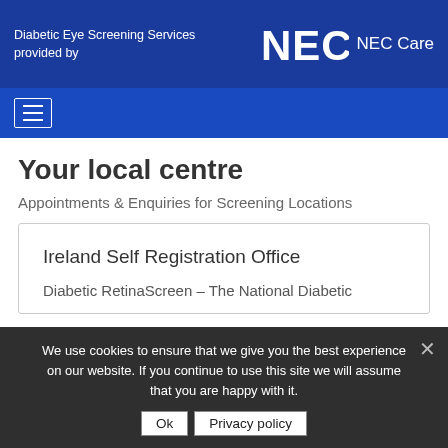Diabetic Eye Screening Services provided by | NEC NEC Care
[Figure (logo): NEC Care logo with white text on blue background]
[Figure (other): Hamburger menu icon (three white lines) on blue navigation bar]
Your local centre
Appointments & Enquiries for Screening Locations
Ireland Self Registration Office
Diabetic RetinaScreen – The National Diabetic
We use cookies to ensure that we give you the best experience on our website. If you continue to use this site we will assume that you are happy with it.